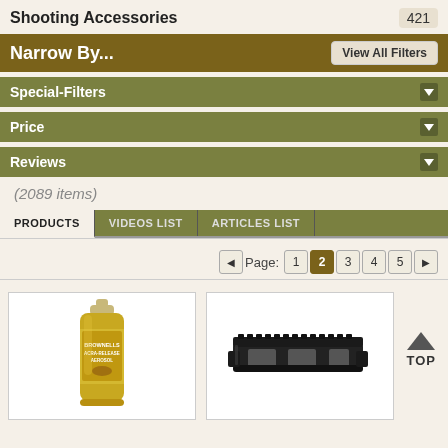Shooting Accessories   421
Narrow By...   View All Filters
Special-Filters ▼
Price ▼
Reviews ▼
(2089 items)
PRODUCTS   VIDEOS LIST   ARTICLES LIST
Page: 1 2 3 4 5
[Figure (photo): Brownells Acra-Release Aerosol spray can product image]
[Figure (photo): Black rail mount / scope mount accessory product image]
▲ TOP